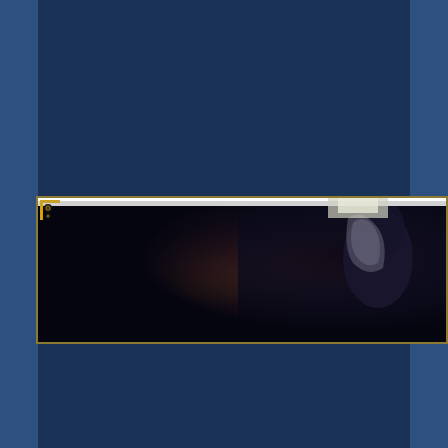[Figure (illustration): A dark fantasy scene partially visible as a horizontal banner strip. Shows a dimly lit interior with warm amber/orange light sources on the left side and dark blue-purple shadows on the right side with a shadowy figure. The image is framed with a dark border and gold corner ornament in the top-left corner. The overall page background is dark navy blue with slightly lighter blue side panels.]